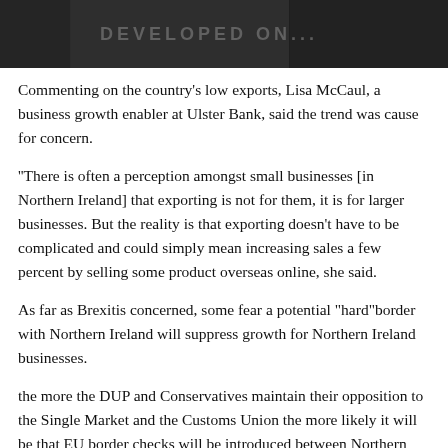[Figure (photo): Dark banner image at top of page, partially visible, appears to show people or a scene, mostly obscured by shadow/darkness]
Commenting on the country's low exports, Lisa McCaul, a business growth enabler at Ulster Bank, said the trend was cause for concern.
"There is often a perception amongst small businesses [in Northern Ireland] that exporting is not for them, it is for larger businesses. But the reality is that exporting doesn't have to be complicated and could simply mean increasing sales a few percent by selling some product overseas online, she said.
As far as Brexitis concerned, some fear a potential "hard"border with Northern Ireland will suppress growth for Northern Ireland businesses.
the more the DUP and Conservatives maintain their opposition to the Single Market and the Customs Union the more likely it will be that EU border checks will be introduced between Northern Ireland and the Republic of Ireland negating much of the promised infrastructure improvements and taking cross border trade back to the